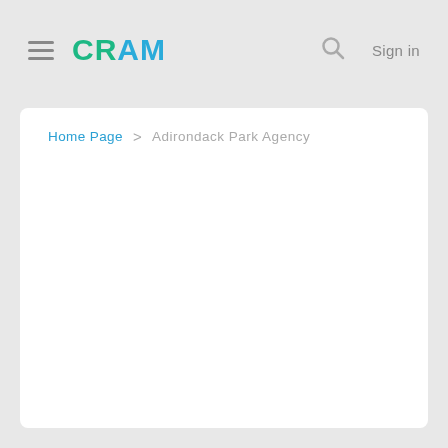CRAM  Sign in
Home Page > Adirondack Park Agency